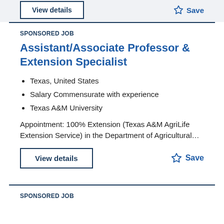View details
Save
SPONSORED JOB
Assistant/Associate Professor & Extension Specialist
Texas, United States
Salary Commensurate with experience
Texas A&M University
Appointment: 100% Extension (Texas A&M AgriLife Extension Service) in the Department of Agricultural…
View details
Save
SPONSORED JOB